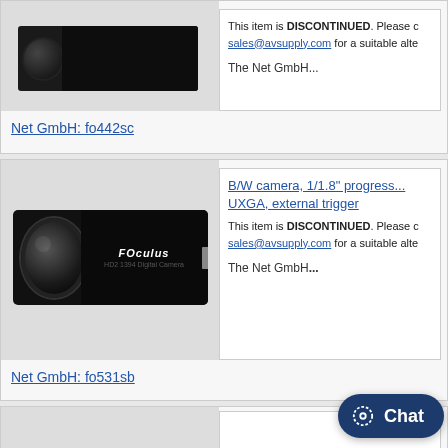[Figure (photo): Black industrial camera (partial view, top of page)]
This item is DISCONTINUED. Please contact sales@avsupply.com for a suitable alte...
The Net GmbH...
Net GmbH: fo442sc
[Figure (photo): FOculus brand black industrial B/W camera with lens]
B/W camera, 1/1.8" progress... UXGA, external trigger
This item is DISCONTINUED. Please contact sales@avsupply.com for a suitable alte...
The Net GmbH...
Net GmbH: fo531sb
[Figure (screenshot): Chat button overlay in bottom right]